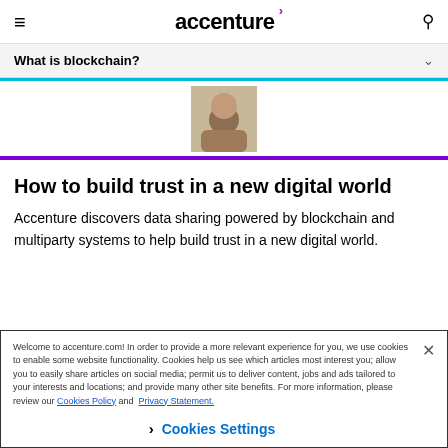accenture
What is blockchain?
[Figure (photo): Partial photo of a person in a brown/tan jacket, cropped at top]
How to build trust in a new digital world
Accenture discovers data sharing powered by blockchain and multiparty systems to help build trust in a new digital world.
Welcome to accenture.com! In order to provide a more relevant experience for you, we use cookies to enable some website functionality. Cookies help us see which articles most interest you; allow you to easily share articles on social media; permit us to deliver content, jobs and ads tailored to your interests and locations; and provide many other site benefits. For more information, please review our Cookies Policy and Privacy Statement.
Cookies Settings